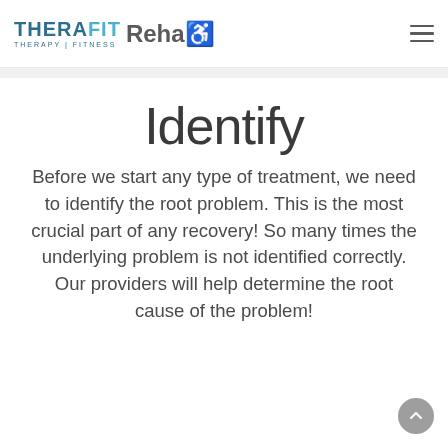THERAFIT Rehab — THERAPY | FITNESS
Identify
Before we start any type of treatment, we need to identify the root problem. This is the most crucial part of any recovery! So many times the underlying problem is not identified correctly. Our providers will help determine the root cause of the problem!